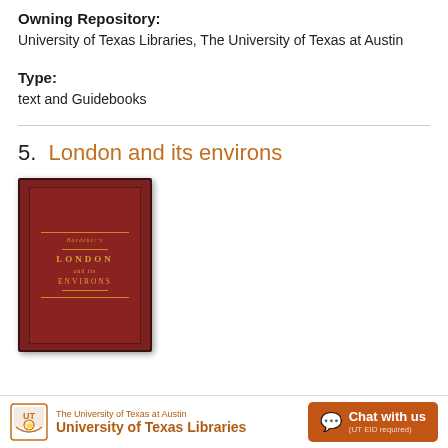Owning Repository:
University of Texas Libraries, The University of Texas at Austin
Type:
text and Guidebooks
5.  London and its environs
[Figure (photo): Book cover of 'London and its Environs' — a dark red/maroon hardcover book with gold lettering showing the title in an ornate style.]
The University of Texas at Austin University of Texas Libraries  Chat with us (UT EID required)